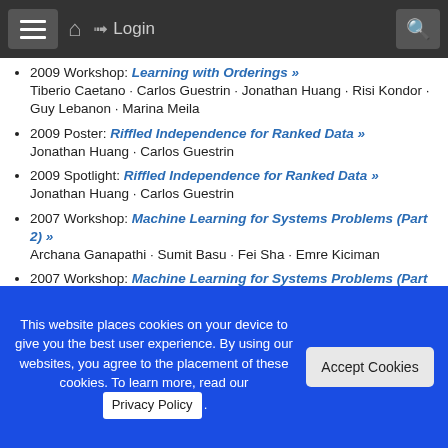☰  🏠  ➨ Login  🔍
2009 Workshop: Learning with Orderings »
Tiberio Caetano · Carlos Guestrin · Jonathan Huang · Risi Kondor · Guy Lebanon · Marina Meila
2009 Poster: Riffled Independence for Ranked Data »
Jonathan Huang · Carlos Guestrin
2009 Spotlight: Riffled Independence for Ranked Data »
Jonathan Huang · Carlos Guestrin
2007 Workshop: Machine Learning for Systems Problems (Part 2) »
Archana Ganapathi · Sumit Basu · Fei Sha · Emre Kiciman
2007 Workshop: Machine Learning for Systems Problems (Part 1) »
Archana Ganapathi · Sumit Basu · Fei Sha · Emre Kiciman
2007 Oral: Efficient Inference forDistributions on Permutations
This website places cookies on your device to give you the best user experience. By using our websites, you agree to the placement of these cookies. To learn more, read our Privacy Policy.